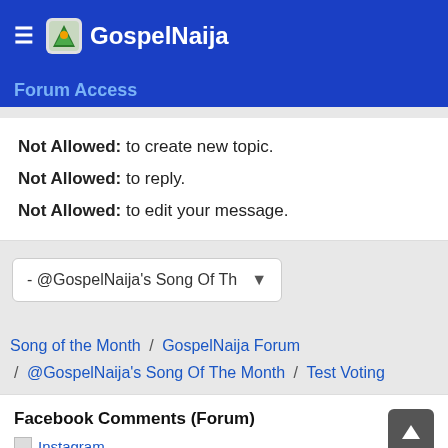GospelNaija
Forum Access
Not Allowed: to create new topic.
Not Allowed: to reply.
Not Allowed: to edit your message.
- @GospelNaija's Song Of Th
Song of the Month / GospelNaija Forum / @GospelNaija's Song Of The Month / Test Voting
Facebook Comments (Forum)
Instagram